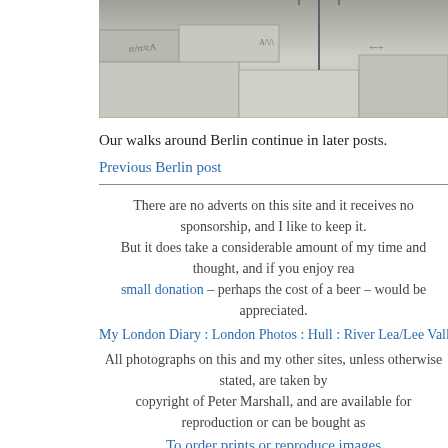[Figure (photo): Partial photo strip at top showing stone wall with graffiti/markings and metal fence/railing]
Our walks around Berlin continue in later posts.
Previous Berlin post
There are no adverts on this site and it receives no sponsorship, and I like to keep it. But it does take a considerable amount of my time and thought, and if you enjoy rea small donation – perhaps the cost of a beer – would be appreciated.
My London Diary : London Photos : Hull : River Lea/Lee Valley : London's Industrial
All photographs on this and my other sites, unless otherwise stated, are taken by copyright of Peter Marshall, and are available for reproduction or can be bought as
To order prints or reproduce images
Posted in My Own Work | No Comments »
Brentford to Hammersmith
Friday, March 22nd, 2019
Our usual end of year walk came a couple of days earlier than usual as